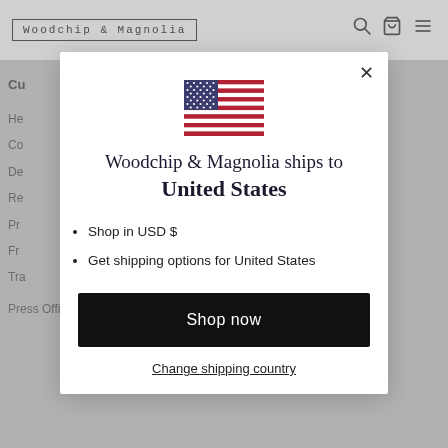Woodchip & Magnolia
[Figure (illustration): US flag emoji/icon centered at top of modal dialog]
Woodchip & Magnolia ships to United States
Shop in USD $
Get shipping options for United States
Shop now
Change shipping country